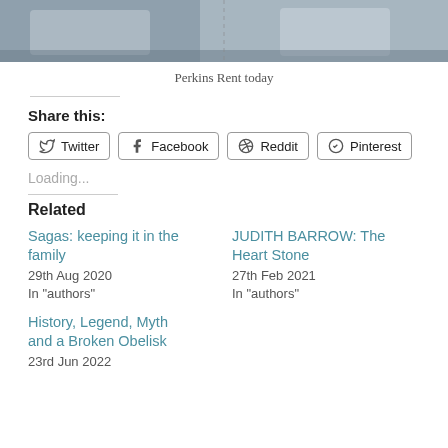[Figure (photo): Street-level photo showing parked cars on a road, two vehicles visible]
Perkins Rent today
Share this:
Twitter  Facebook  Reddit  Pinterest
Loading...
Related
Sagas: keeping it in the family
29th Aug 2020
In "authors"
JUDITH BARROW: The Heart Stone
27th Feb 2021
In "authors"
History, Legend, Myth and a Broken Obelisk
23rd Jun 2022